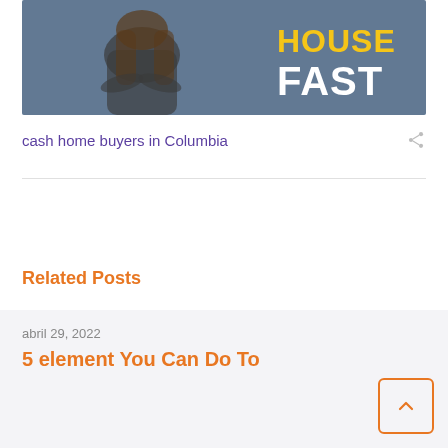[Figure (illustration): Promotional banner image showing a woman in black with text HOUSE FAST on a blue background]
cash home buyers in Columbia
Related Posts
abril 29, 2022
5 element You Can Do To